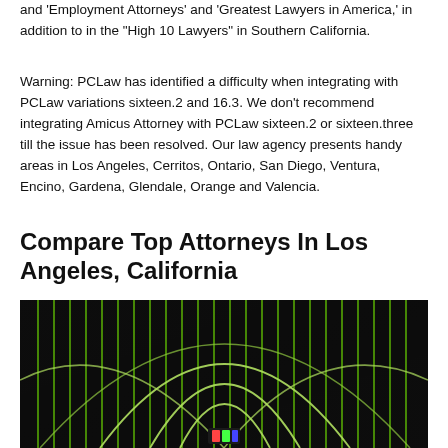and 'Employment Attorneys' and 'Greatest Lawyers in America,' in addition to in the 'High 10 Lawyers' in Southern California.
Warning: PCLaw has identified a difficulty when integrating with PCLaw variations sixteen.2 and 16.3. We don't recommend integrating Amicus Attorney with PCLaw sixteen.2 or sixteen.three till the issue has been resolved. Our law agency presents handy areas in Los Angeles, Cerritos, Ontario, San Diego, Ventura, Encino, Gardena, Glendale, Orange and Valencia.
Compare Top Attorneys In Los Angeles, California
[Figure (photo): Dark background image with bright green vertical lines and curved arcs forming a decorative geometric pattern, with a small colorful element at the bottom center.]